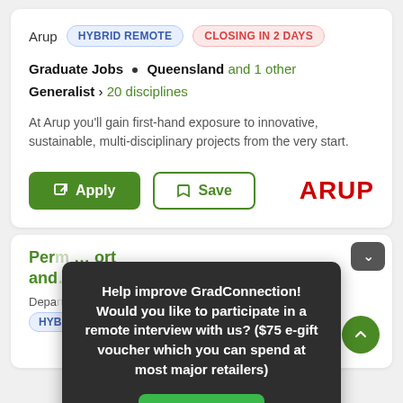Arup  HYBRID REMOTE  CLOSING IN 2 DAYS
Graduate Jobs • Queensland and 1 other
Generalist › 20 disciplines
At Arup you'll gain first-hand exposure to innovative, sustainable, multi-disciplinary projects from the very start.
[Figure (screenshot): Apply button (green) and Save button (outlined green) with ARUP logo in red]
Per... ort and...
Depa...
HYBR...
Help improve GradConnection! Would you like to participate in a remote interview with us? ($75 e-gift voucher which you can spend at most major retailers)
Reply